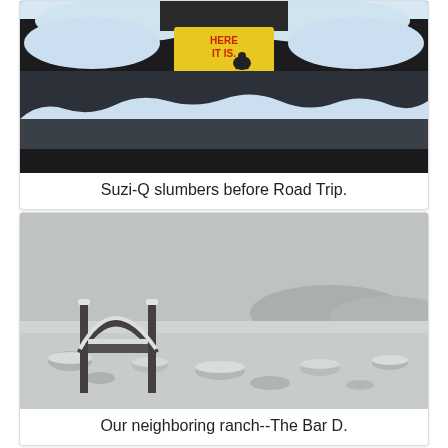[Figure (photo): Rear of a snow-covered SUV/truck (Suzi-Q) parked outside, with a yellow bumper sticker reading HERE IT IS with a black turkey/bird silhouette, snow piled on the roof and bumpers, dark wet pavement below]
Suzi-Q slumbers before Road Trip.
[Figure (photo): Black and white snowy landscape showing The Bar D neighboring ranch entrance gate arch covered in snow, flat snow-covered desert scrubland stretching to distant mountains under an overcast grey sky]
Our neighboring ranch--The Bar D.
[Figure (photo): Partial view of a third photo, bottom of page, showing a grey snowy scene (partially cropped)]